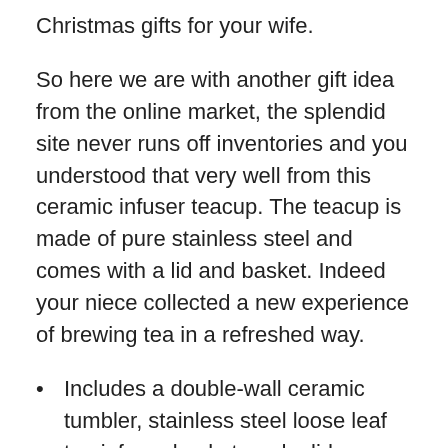Christmas gifts for your wife.
So here we are with another gift idea from the online market, the splendid site never runs off inventories and you understood that very well from this ceramic infuser teacup. The teacup is made of pure stainless steel and comes with a lid and basket. Indeed your niece collected a new experience of brewing tea in a refreshed way.
Includes a double-wall ceramic tumbler, stainless steel loose leaf tea infuser basket, and a lid
The insulated double wall design keeps tea